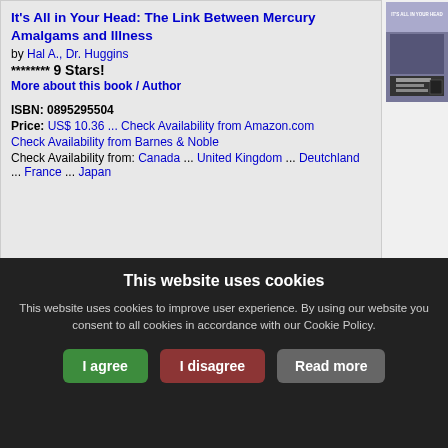It's All in Your Head: The Link Between Mercury Amalgams and Illness
by Hal A., Dr. Huggins
******** 9 Stars!
More about this book / Author
ISBN: 0895295504
Price: US$ 10.36 ... Check Availability from Amazon.com
Check Availability from Barnes & Noble
Check Availability from: Canada ... United Kingdom ... Deutchland ... France ... Japan
[Figure (photo): Book cover for It's All in Your Head]
The Cure for All Diseases [LARGE PRINT]
by Hulda Regehr Clark
********** 10 Stars!
More about this book / Author
ISBN: 1890035017
Price: US$ 16.44 ... Check Availability from
[Figure (photo): Book cover for The Cure for All Diseases]
This website uses cookies
This website uses cookies to improve user experience. By using our website you consent to all cookies in accordance with our Cookie Policy.